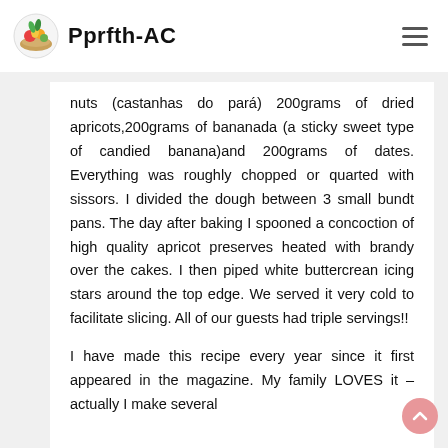Pprfth-AC
nuts (castanhas do pará) 200grams of dried apricots,200grams of bananada (a sticky sweet type of candied banana)and 200grams of dates. Everything was roughly chopped or quarted with sissors. I divided the dough between 3 small bundt pans. The day after baking I spooned a concoction of high quality apricot preserves heated with brandy over the cakes. I then piped white buttercrean icing stars around the top edge. We served it very cold to facilitate slicing. All of our guests had triple servings!!
I have made this recipe every year since it first appeared in the magazine. My family LOVES it – actually I make several